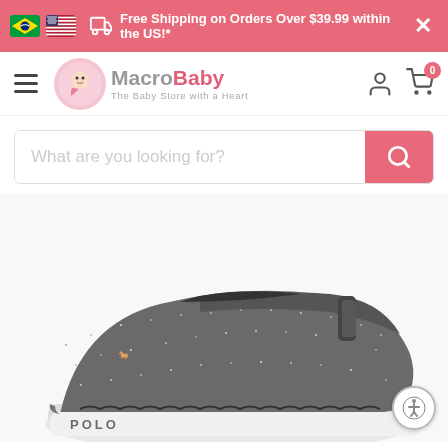Free Shipping on Orders Over $39.99 within the US!*
[Figure (logo): MacroBaby logo - The Baby Store with a Heart]
What are you looking for?
[Figure (photo): Polo Ralph Lauren silver/pewter glitter Mary Jane shoes for toddler/infant girls with velcro strap and scalloped detailing]